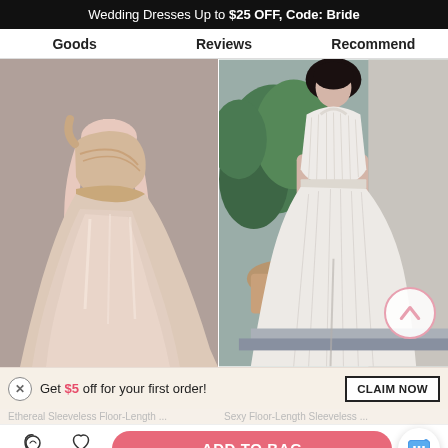Wedding Dresses Up to $25 OFF, Code: Bride
Goods  Reviews  Recommend
[Figure (photo): Two full-length floor-length bridesmaid/wedding dresses in blush/champagne pink. Left: sleeveless one-shoulder draped tulle gown on a model against grey background. Right: halter-neck pleated chiffon gown on a model against outdoor background with tropical plants.]
Get $5 off for your first order!
CLAIM NOW
Ethereal Sleeveless Floor-Length ...  Sexy Floor-Length Sleeveless ...
Live Chat
Like
ADD TO BAG